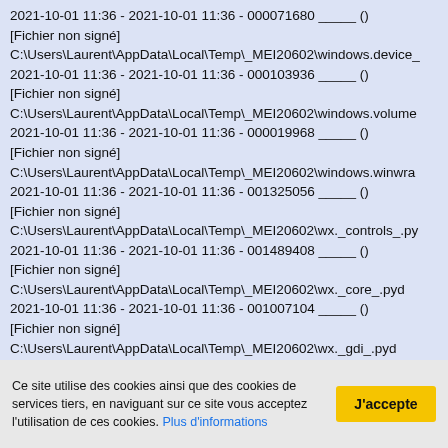2021-10-01 11:36 - 2021-10-01 11:36 - 000071680 _____ ()
[Fichier non signé]
C:\Users\Laurent\AppData\Local\Temp\_MEI20602\windows.device_
2021-10-01 11:36 - 2021-10-01 11:36 - 000103936 _____ ()
[Fichier non signé]
C:\Users\Laurent\AppData\Local\Temp\_MEI20602\windows.volume
2021-10-01 11:36 - 2021-10-01 11:36 - 000019968 _____ ()
[Fichier non signé]
C:\Users\Laurent\AppData\Local\Temp\_MEI20602\windows.winwra
2021-10-01 11:36 - 2021-10-01 11:36 - 001325056 _____ ()
[Fichier non signé]
C:\Users\Laurent\AppData\Local\Temp\_MEI20602\wx._controls_.py
2021-10-01 11:36 - 2021-10-01 11:36 - 001489408 _____ ()
[Fichier non signé]
C:\Users\Laurent\AppData\Local\Temp\_MEI20602\wx._core_.pyd
2021-10-01 11:36 - 2021-10-01 11:36 - 001007104 _____ ()
[Fichier non signé]
C:\Users\Laurent\AppData\Local\Temp\_MEI20602\wx._gdi_.pyd
2021-10-01 11:36 - 2021-10-01 11:36 - 000103424 _____ ()
[Fichier non signé]
Ce site utilise des cookies ainsi que des cookies de services tiers, en naviguant sur ce site vous acceptez l'utilisation de ces cookies. Plus d'informations
J'accepte